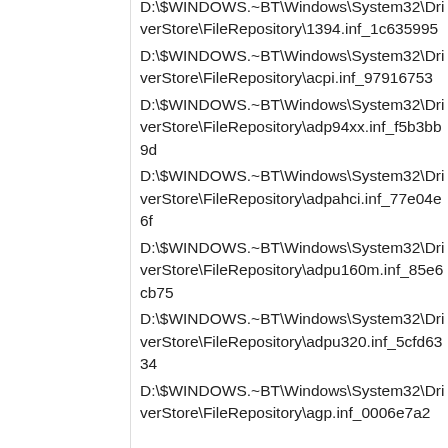D:\$WINDOWS.~BT\Windows\System32\DriverStore\FileRepository\1394.inf_1c635995
D:\$WINDOWS.~BT\Windows\System32\DriverStore\FileRepository\acpi.inf_97916753
D:\$WINDOWS.~BT\Windows\System32\DriverStore\FileRepository\adp94xx.inf_f5b3bb9d
D:\$WINDOWS.~BT\Windows\System32\DriverStore\FileRepository\adpahci.inf_77e04e6f
D:\$WINDOWS.~BT\Windows\System32\DriverStore\FileRepository\adpu160m.inf_85e6cb75
D:\$WINDOWS.~BT\Windows\System32\DriverStore\FileRepository\adpu320.inf_5cfd6334
D:\$WINDOWS.~BT\Windows\System32\DriverStore\FileRepository\agp.inf_0006e7a2